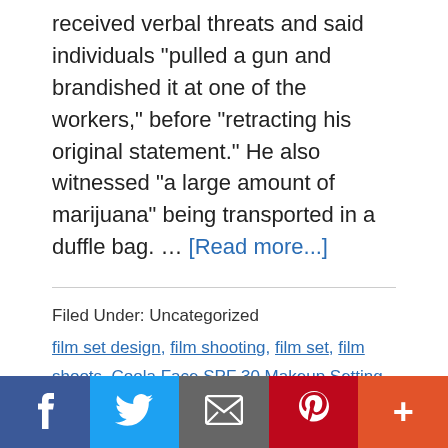received verbal threats and said individuals "pulled a gun and brandished it at one of the workers," before "retracting his original statement." He also witnessed "a large amount of marijuana" being transported in a duffle bag. … [Read more...]
Filed Under: Uncategorized
film set design, film shooting, film set, film shoots, Coola Face SPF 30 Makeup Setting Spray, film shooting location, shooting 35mm film, Film Shoot, shoot film camera, phenolic film faced plywood, natalie portman naked
Social share bar: Facebook, Twitter, Email, Pinterest, More